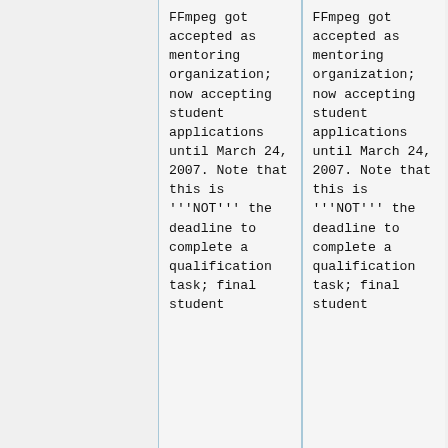FFmpeg got accepted as mentoring organization; now accepting student applications until March 24, 2007. Note that this is '''NOT''' the deadline to complete a qualification task; final student
FFmpeg got accepted as mentoring organization; now accepting student applications until March 24, 2007. Note that this is '''NOT''' the deadline to complete a qualification task; final student